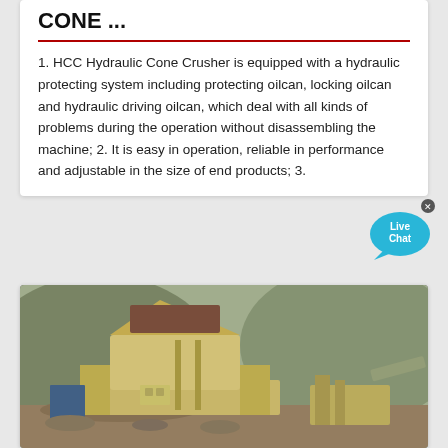CONE ...
1. HCC Hydraulic Cone Crusher is equipped with a hydraulic protecting system including protecting oilcan, locking oilcan and hydraulic driving oilcan, which deal with all kinds of problems during the operation without disassembling the machine; 2. It is easy in operation, reliable in performance and adjustable in the size of end products; 3.
[Figure (photo): Photograph of a large yellow cone crusher / mobile crushing machine at an outdoor quarry site with rocky hills and greenery in the background.]